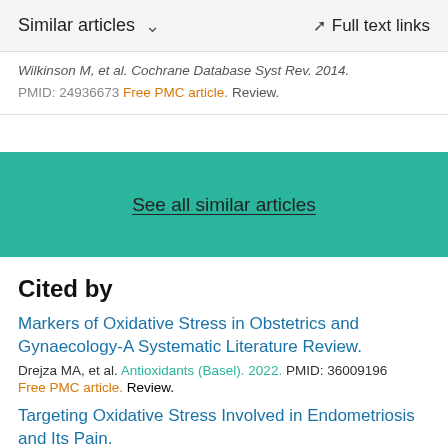Similar articles   Full text links
Wilkinson M, et al. Cochrane Database Syst Rev. 2014.
PMID: 24936673 Free PMC article. Review.
See all similar articles
Cited by
Markers of Oxidative Stress in Obstetrics and Gynaecology-A Systematic Literature Review.
Drejza MA, et al. Antioxidants (Basel). 2022. PMID: 36009196
Free PMC article. Review.
Targeting Oxidative Stress Involved in Endometriosis and Its Pain.
Clower L, et al. Biomolecules. 2022. PMID: 36008949